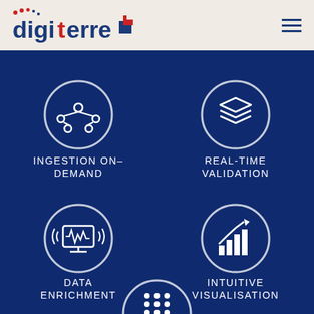[Figure (logo): Digiterre logo with blue and red text and icon]
[Figure (infographic): Four feature icons in a 2x2 grid on dark blue background: Ingestion On-Demand (network icon), Real-Time Validation (layers icon), Data Enrichment (monitor/chart icon), Intuitive Visualisation (bar chart with trend line icon), plus partial fifth icon at bottom center]